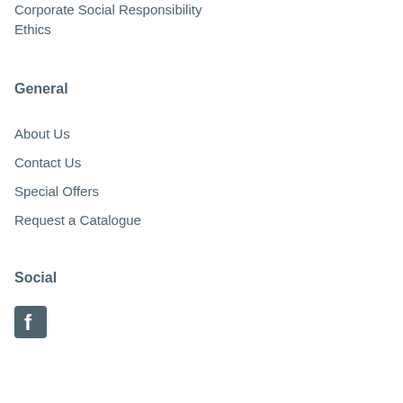Corporate Social Responsibility
Ethics
General
About Us
Contact Us
Special Offers
Request a Catalogue
Social
[Figure (illustration): Facebook icon - dark teal/blue square with white 'f' letter]
[Figure (illustration): LinkedIn icon - dark teal/blue 'in' text logo]